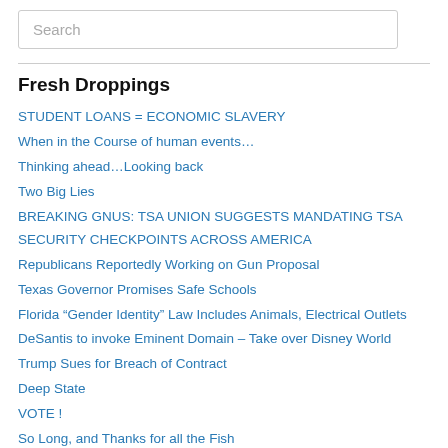[Figure (screenshot): Search input box with placeholder text 'Search']
Fresh Droppings
STUDENT LOANS = ECONOMIC SLAVERY
When in the Course of human events…
Thinking ahead…Looking back
Two Big Lies
BREAKING GNUS: TSA UNION SUGGESTS MANDATING TSA SECURITY CHECKPOINTS ACROSS AMERICA
Republicans Reportedly Working on Gun Proposal
Texas Governor Promises Safe Schools
Florida “Gender Identity” Law Includes Animals, Electrical Outlets
DeSantis to invoke Eminent Domain – Take over Disney World
Trump Sues for Breach of Contract
Deep State
VOTE !
So Long, and Thanks for all the Fish